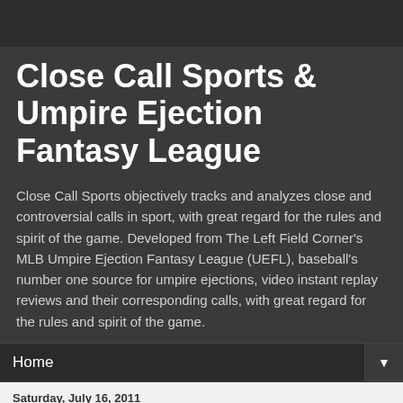Close Call Sports & Umpire Ejection Fantasy League
Close Call Sports objectively tracks and analyzes close and controversial calls in sport, with great regard for the rules and spirit of the game. Developed from The Left Field Corner's MLB Umpire Ejection Fantasy League (UEFL), baseball's number one source for umpire ejections, video instant replay reviews and their corresponding calls, with great regard for the rules and spirit of the game.
Home
Saturday, July 16, 2011
Ejection: Gary Blaser (2, 2)